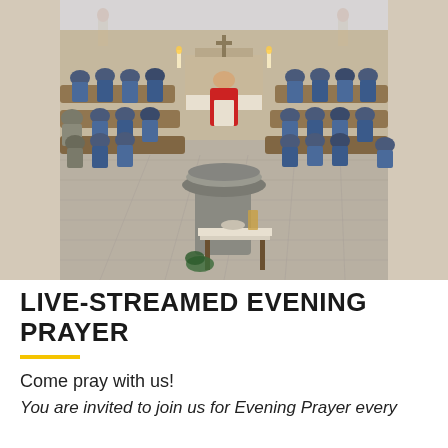[Figure (photo): Interior of a chapel with people in blue robes seated in curved wooden pews on both sides. A priest in red vestments stands at the altar at the back. In the foreground is a large stone baptismal font and a small table with liturgical items on a white cloth.]
LIVE-STREAMED EVENING PRAYER
Come pray with us!
You are invited to join us for Evening Prayer every